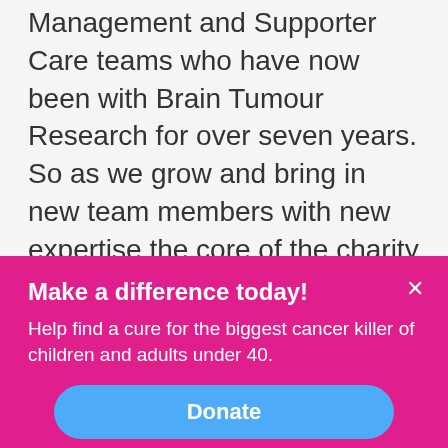Management and Supporter Care teams who have now been with Brain Tumour Research for over seven years. So as we grow and bring in new team members with new expertise the core of the charity is loyal to the cause which, for all of us, is personal. It is a culture of staff retention of which we are very proud and it spreads into other areas too.

When I joined the charity at the first networking event I went to I met James Potter (aka The LinkedIn Man) and we have remained in
Make a difference today!
Help find a cure for the biggest cancer killer of children and adults under 40.
Donate